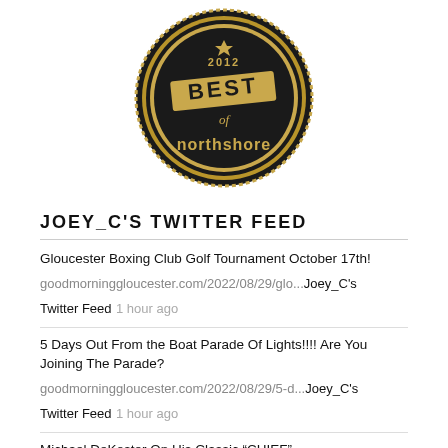[Figure (logo): 2012 Best of Northshore award badge — circular gold and black medallion with serrated edge, star at top, banner reading BEST, text '2012', 'of', 'northshore']
JOEY_C'S TWITTER FEED
Gloucester Boxing Club Golf Tournament October 17th! goodmorninggloucester.com/2022/08/29/glo...Joey_C's Twitter Feed 1 hour ago
5 Days Out From the Boat Parade Of Lights!!!! Are You Joining The Parade? goodmorninggloucester.com/2022/08/29/5-d...Joey_C's Twitter Feed 1 hour ago
Michael DeKoster On His Classic “CHIEF”